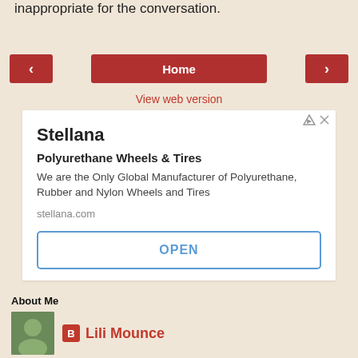inappropriate for the conversation.
[Figure (other): Navigation row with left arrow button, Home center button, and right arrow button, all in dark red/maroon color]
View web version
[Figure (other): Advertisement box for Stellana - Polyurethane Wheels & Tires. Text: 'We are the Only Global Manufacturer of Polyurethane, Rubber and Nylon Wheels and Tires'. URL: stellana.com. OPEN button with blue border.]
About Me
Lili Mounce